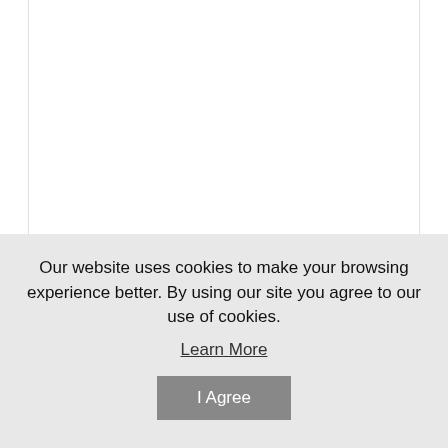[Figure (photo): Product image area — white/blank space for a Slippery Rock University doormat product photo]
Slippery Rock University Starter Nylon Eco Friendly Doormat
Our website uses cookies to make your browsing experience better. By using our site you agree to our use of cookies.
Learn More
I Agree